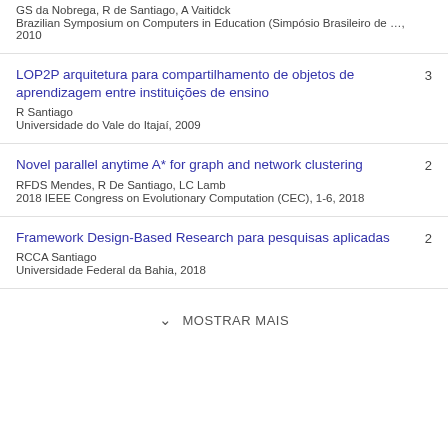GS da Nobrega, R de Santiago, A Vaitidck
Brazilian Symposium on Computers in Education (Simpósio Brasileiro de …, 2010
LOP2P arquitetura para compartilhamento de objetos de aprendizagem entre instituições de ensino
R Santiago
Universidade do Vale do Itajaí, 2009
3
Novel parallel anytime A* for graph and network clustering
RFDS Mendes, R De Santiago, LC Lamb
2018 IEEE Congress on Evolutionary Computation (CEC), 1-6, 2018
2
Framework Design-Based Research para pesquisas aplicadas
RCCA Santiago
Universidade Federal da Bahia, 2018
2
MOSTRAR MAIS